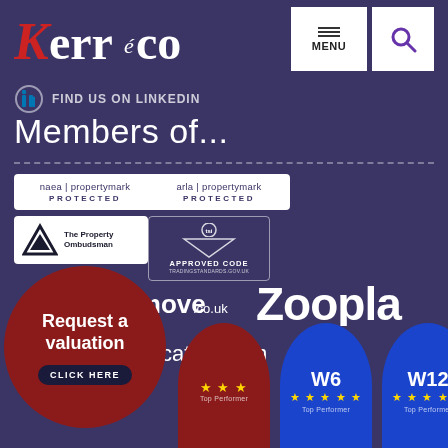[Figure (logo): Kerrco logo in red and white on dark purple background]
[Figure (screenshot): Navigation bar with MENU button and search icon]
FIND US ON LINKEDIN
Members of...
[Figure (logo): naea | propertymark PROTECTED badge]
[Figure (logo): arla | propertymark PROTECTED badge]
[Figure (logo): The Property Ombudsman logo]
[Figure (logo): TSI Approved Code tradingstandards.gov.uk badge]
[Figure (logo): rightmove.co.uk logo]
[Figure (logo): Zoopla logo]
[Figure (logo): PrimeLocation.com logo]
[Figure (infographic): Request a valuation - CLICK HERE button circle]
[Figure (infographic): Award circles for W6 and W12 Top Performer with star ratings]